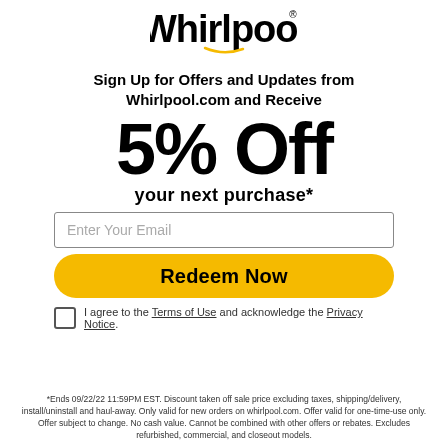[Figure (logo): Whirlpool logo with gold swoosh]
Sign Up for Offers and Updates from Whirlpool.com and Receive
5% Off
your next purchase*
Enter Your Email
Redeem Now
I agree to the Terms of Use and acknowledge the Privacy Notice.
*Ends 09/22/22 11:59PM EST. Discount taken off sale price excluding taxes, shipping/delivery, install/uninstall and haul-away. Only valid for new orders on whirlpool.com. Offer valid for one-time-use only. Offer subject to change. No cash value. Cannot be combined with other offers or rebates. Excludes refurbished, commercial, and closeout models.